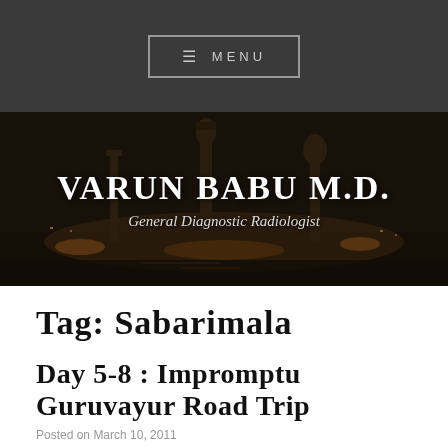≡ MENU
[Figure (photo): Dark nighttime cityscape with towers illuminated, overlaid with site title 'VARUN BABU M.D.' and subtitle 'General Diagnostic Radiologist']
VARUN BABU M.D.
General Diagnostic Radiologist
TAG: SABARIMALA
DAY 5-8 : IMPROMPTU GURUVAYUR ROAD TRIP
Posted on March 10, 2011